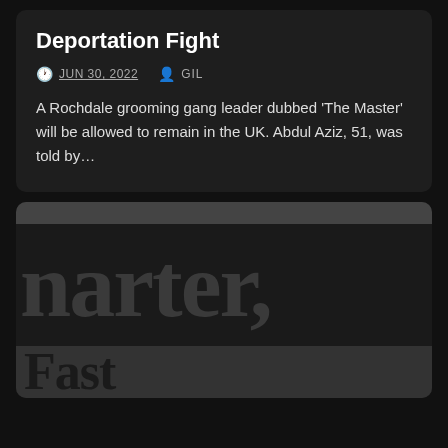Deportation Fight
JUN 30, 2022   GIL
A Rochdale grooming gang leader dubbed 'The Master' will be allowed to remain in the UK. Abdul Aziz, 51, was told by…
[Figure (logo): Large serif typographic logo showing partial text 'narter,' on dark background with a banner strip below showing partial text 'Fast']